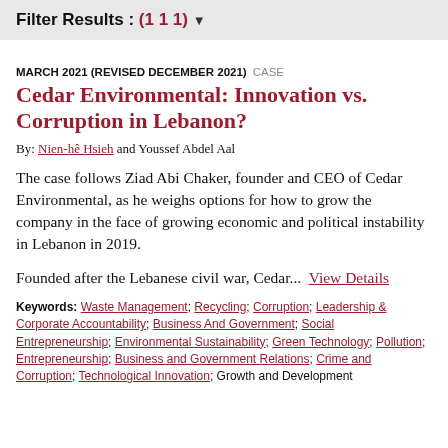Filter Results : (111)
MARCH 2021 (REVISED DECEMBER 2021)  CASE
Cedar Environmental: Innovation vs. Corruption in Lebanon?
By: Nien-hê Hsieh and Youssef Abdel Aal
The case follows Ziad Abi Chaker, founder and CEO of Cedar Environmental, as he weighs options for how to grow the company in the face of growing economic and political instability in Lebanon in 2019.
Founded after the Lebanese civil war, Cedar...  View Details
Keywords: Waste Management; Recycling; Corruption; Leadership & Corporate Accountability; Business And Government; Social Entrepreneurship; Environmental Sustainability; Green Technology; Pollution; Entrepreneurship; Business and Government Relations; Crime and Corruption; Technological Innovation; Growth and Development